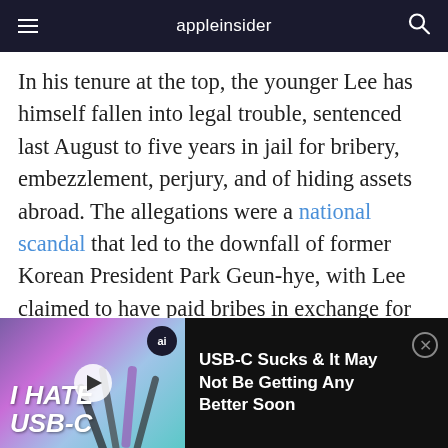appleinsider
In his tenure at the top, the younger Lee has himself fallen into legal trouble, sentenced last August to five years in jail for bribery, embezzlement, perjury, and of hiding assets abroad. The allegations were a national scandal that led to the downfall of former Korean President Park Geun-hye, with Lee claimed to have paid bribes in exchange for favors that helped Samsung as well as giving Lee more
[Figure (screenshot): Video ad overlay at bottom of screen showing 'I HATE USB-C' thumbnail with cables and title 'USB-C Sucks & It May Not Be Getting Any Better Soon']